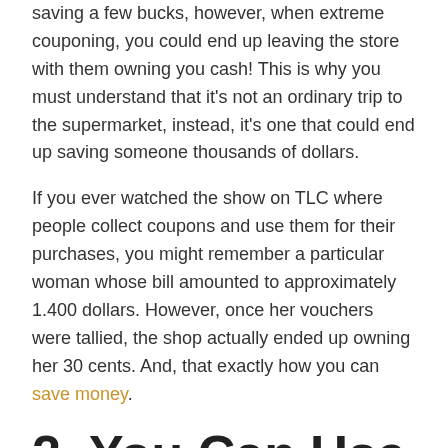saving a few bucks, however, when extreme couponing, you could end up leaving the store with them owning you cash! This is why you must understand that it's not an ordinary trip to the supermarket, instead, it's one that could end up saving someone thousands of dollars.
If you ever watched the show on TLC where people collect coupons and use them for their purchases, you might remember a particular woman whose bill amounted to approximately 1.400 dollars. However, once her vouchers were tallied, the shop actually ended up owning her 30 cents. And, that exactly how you can save money.
2. You Can Use it For Donating Goods